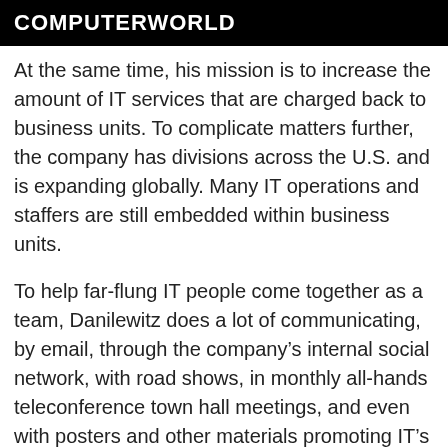COMPUTERWORLD
At the same time, his mission is to increase the amount of IT services that are charged back to business units. To complicate matters further, the company has divisions across the U.S. and is expanding globally. Many IT operations and staffers are still embedded within business units.
To help far-flung IT people come together as a team, Danilewitz does a lot of communicating, by email, through the company’s internal social network, with road shows, in monthly all-hands teleconference town hall meetings, and even with posters and other materials promoting IT’s goals.